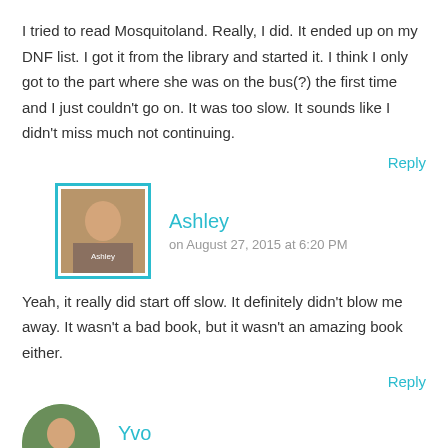I tried to read Mosquitoland. Really, I did. It ended up on my DNF list. I got it from the library and started it. I think I only got to the part where she was on the bus(?) the first time and I just couldn't go on. It was too slow. It sounds like I didn't miss much not continuing.
Reply
Ashley
on August 27, 2015 at 6:20 PM
Yeah, it really did start off slow. It definitely didn't blow me away. It wasn't a bad book, but it wasn't an amazing book either.
Reply
Yvo
on August 27, 2015 at 11:29 AM